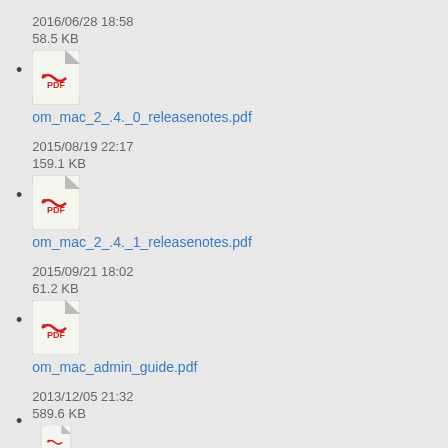2016/06/28 18:58
58.5 KB
om_mac_2_.4._0_releasenotes.pdf
2015/08/19 22:17
159.1 KB
om_mac_2_.4._1_releasenotes.pdf
2015/09/21 18:02
61.2 KB
om_mac_admin_guide.pdf
2013/12/05 21:32
589.6 KB
(partial)